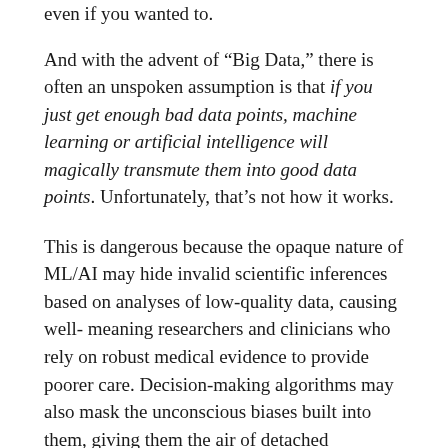even if you wanted to.
And with the advent of “Big Data,” there is often an unspoken assumption is that if you just get enough bad data points, machine learning or artificial intelligence will magically transmute them into good data points. Unfortunately, that’s not how it works.
This is dangerous because the opaque nature of ML/AI may hide invalid scientific inferences based on analyses of low-quality data, causing well-meaning researchers and clinicians who rely on robust medical evidence to provide poorer care. Decision-making algorithms may also mask the unconscious biases built into them, giving them the air of detached impartiality, but still having all the human biases of their programmers.
And there are many problems with human biases being codified while also preventing their...